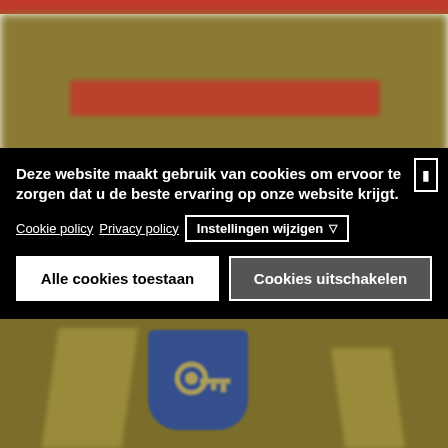[Figure (screenshot): Blurred background showing a golden/brown website page with a red header bar at top and a blue shield icon with a key symbol in the lower portion. A cookie consent banner overlay covers the middle section.]
Deze website maakt gebruik van cookies om ervoor te zorgen dat u de beste ervaring op onze website krijgt.
Cookie policy   Privacy policy   Instellingen wijzigen ▽
Alle cookies toestaan
Cookies uitschakelen